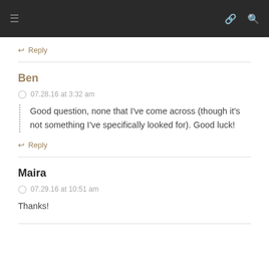Navigation bar with menu, link, and search icons
↩ Reply
Ben
07.28.16 at 3:32 am
Good question, none that I've come across (though it's not something I've specifically looked for). Good luck!
↩ Reply
Maira
07.29.16 at 10:51 am
Thanks!